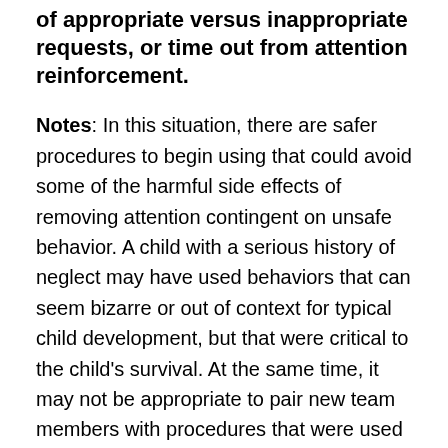of appropriate versus inappropriate requests, or time out from attention reinforcement.
Notes: In this situation, there are safer procedures to begin using that could avoid some of the harmful side effects of removing attention contingent on unsafe behavior. A child with a serious history of neglect may have used behaviors that can seem bizarre or out of context for typical child development, but that were critical to the child's survival. At the same time, it may not be appropriate to pair new team members with procedures that were used in the child's neglect, even if the “intent” is different. There are many procedures that can be used more safely, such as using enriched environments and fixed time schedules, to provide monitoring, insure high levels of safe attention, and begin to condition adults as neutral stimuli again, if needed, after harmful interactions